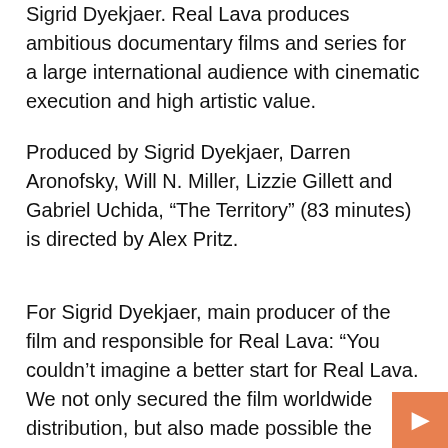Sigrid Dyekjaer. Real Lava produces ambitious documentary films and series for a large international audience with cinematic execution and high artistic value.
Produced by Sigrid Dyekjaer, Darren Aronofsky, Will N. Miller, Lizzie Gillett and Gabriel Uchida, “The Territory” (83 minutes) is directed by Alex Pritz.
For Sigrid Dyekjaer, main producer of the film and responsible for Real Lava: “You couldn’t imagine a better start for Real Lava. We not only secured the film worldwide distribution, but also made possible the realization of a global impact campaign, where we focus on